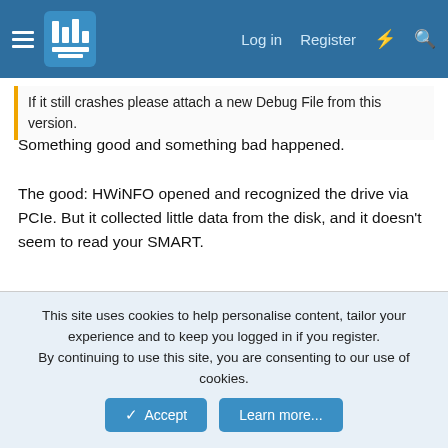HWiNFO forum — Log in | Register
If it still crashes please attach a new Debug File from this version.
Something good and something bad happened.
The good: HWiNFO opened and recognized the drive via PCIe. But it collected little data from the disk, and it doesn't seem to read your SMART.
The bad: and strange is that when I run HWiNFO with Opera browser opened, it got stuck in memory again with the message "Flushing buffers...".
Attachments
[Figure (screenshot): Attachment thumbnail placeholder]
This site uses cookies to help personalise content, tailor your experience and to keep you logged in if you register. By continuing to use this site, you are consenting to our use of cookies.